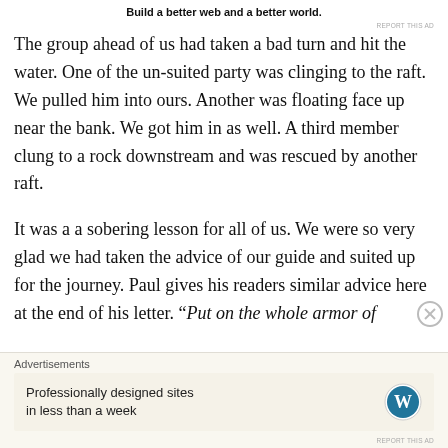Build a better web and a better world.
The group ahead of us had taken a bad turn and hit the water. One of the un-suited party was clinging to the raft. We pulled him into ours. Another was floating face up near the bank. We got him in as well. A third member clung to a rock downstream and was rescued by another raft.
It was a a sobering lesson for all of us. We were so very glad we had taken the advice of our guide and suited up for the journey. Paul gives his readers similar advice here at the end of his letter. “Put on the whole armor of
Advertisements
[Figure (other): WordPress advertisement: Professionally designed sites in less than a week, with WordPress logo]